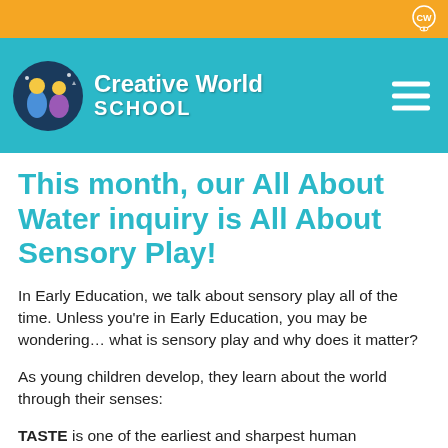[Figure (logo): Orange top bar with Creative World School CW icon in top right corner]
[Figure (logo): Creative World School logo with teal background, circular mascot logo with children illustration, school name in white, and hamburger menu icon]
This month, our All About Water inquiry is All About Sensory Play!
In Early Education, we talk about sensory play all of the time. Unless you're in Early Education, you may be wondering… what is sensory play and why does it matter?
As young children develop, they learn about the world through their senses:
TASTE is one of the earliest and sharpest human sensations as infants begin drinking milk. Young